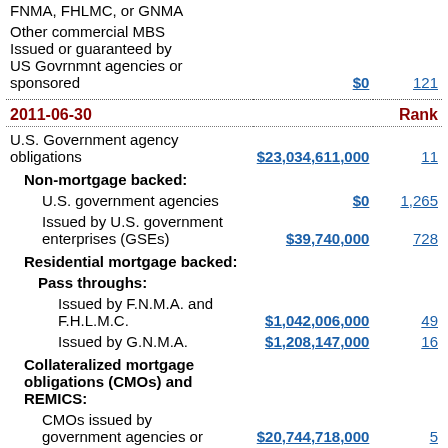| Description | Value | Rank |
| --- | --- | --- |
| FNMA, FHLMC, or GNMA |  |  |
| Other commercial MBS Issued or guaranteed by US Govrnmnt agencies or sponsored | $0 | 121 |
| 2011-06-30 |  | Rank |
| U.S. Government agency obligations | $23,034,611,000 | 11 |
| Non-mortgage backed: |  |  |
| U.S. government agencies | $0 | 1,265 |
| Issued by U.S. government enterprises (GSEs) | $39,740,000 | 728 |
| Residential mortgage backed: |  |  |
| Pass throughs: |  |  |
| Issued by F.N.M.A. and F.H.L.M.C. | $1,042,006,000 | 49 |
| Issued by G.N.M.A. | $1,208,147,000 | 16 |
| Collateralized mortgage obligations (CMOs) and REMICS: |  |  |
| CMOs issued by government agencies or sponsored enterprises | $20,744,718,000 | 5 |